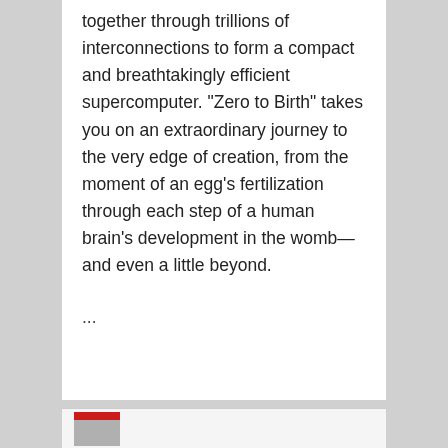together through trillions of interconnections to form a compact and breathtakingly efficient supercomputer. "Zero to Birth" takes you on an extraordinary journey to the very edge of creation, from the moment of an egg's fertilization through each step of a human brain's development in the womb—and even a little beyond.
...